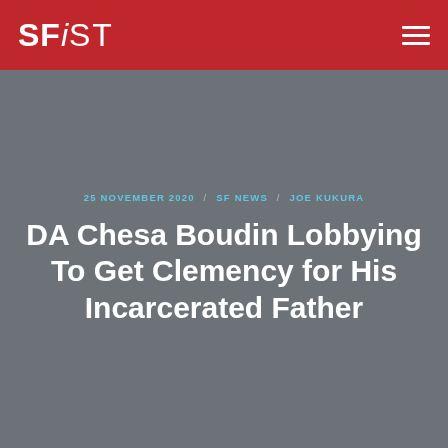SFiST
25 NOVEMBER 2020 / SF NEWS / JOE KUKURA
DA Chesa Boudin Lobbying To Get Clemency for His Incarcerated Father